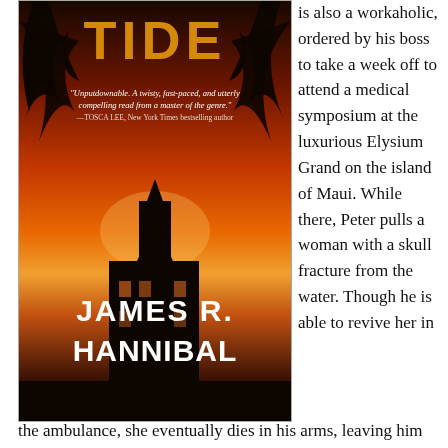[Figure (illustration): Book cover of 'TIDE' by James R. Hannibal. Orange and dark sunset background with palm tree silhouettes and a building/tower silhouette. Title 'TIDE' in gold at top, author name 'JAMES R. HANNIBAL' in white bold at bottom. Quote: 'Unputdownable. A twisty, fast-paced, and utterly compelling read from a master of the genre.' — TOSCA LEE, New York Times bestselling author]
is also a workaholic, ordered by his boss to take a week off to attend a medical symposium at the luxurious Elysium Grand on the island of Maui. While there, Peter pulls a woman with a skull fracture from the water. Though he is able to revive her in the ambulance, she eventually dies in his arms, leaving him with only one clue to what happened to her: the word “honu.”
Increasingly obsessed with discovering the cause of his patient’s death, Peter becomes entangled in an ongoing